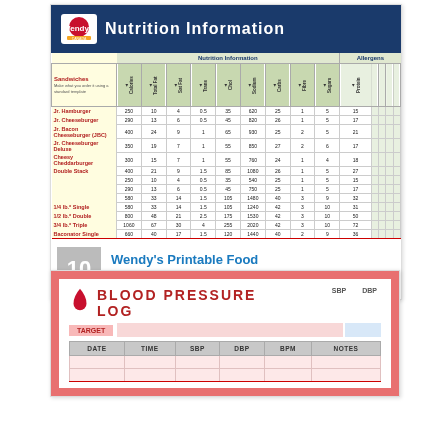[Figure (other): Wendy's Nutrition Information table showing sandwich calories, fat, sodium and allergen data]
10
Wendy's Printable Food Calorie Chart
[Figure (other): Blood Pressure Log form with SBP, DBP, TARGET, DATE, TIME, and NOTES columns]